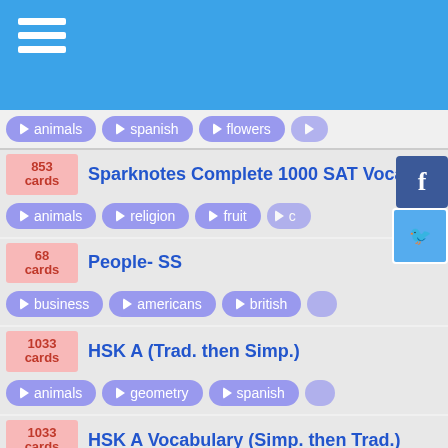animals | spanish | flowers
853 cards — Sparknotes Complete 1000 SAT Vocab
animals | religion | fruit
68 cards — People- SS
business | americans | british
1033 cards — HSK A (Trad. then Simp.)
animals | geometry | spanish
1033 cards — HSK A Vocabulary (Simp. then Trad.)
animals | geometry | spanish
68 cards — People (SS Puzzle) Lovingly ripped off fr
business | americans | british
373 cards — Social Studies Everything (forgive the rep
geology | spanish | business
203 cards